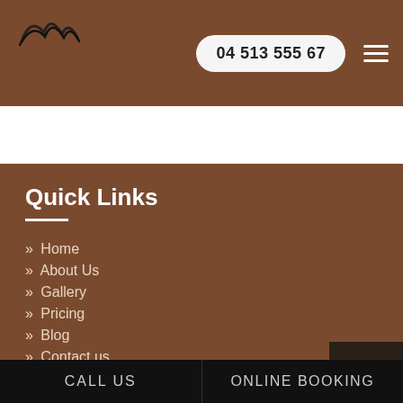04 513 555 67
Quick Links
» Home
» About Us
» Gallery
» Pricing
» Blog
» Contact us
Services
TOP
CALL US  ONLINE BOOKING